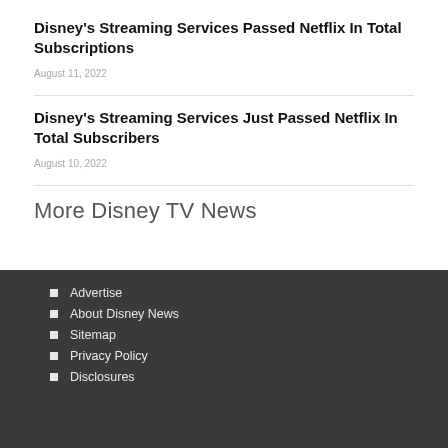Disney's Streaming Services Passed Netflix In Total Subscriptions
August 11, 2022
Disney's Streaming Services Just Passed Netflix In Total Subscribers
August 10, 2022
More Disney TV News
Advertise
About Disney News
Sitemap
Privacy Policy
Disclosures